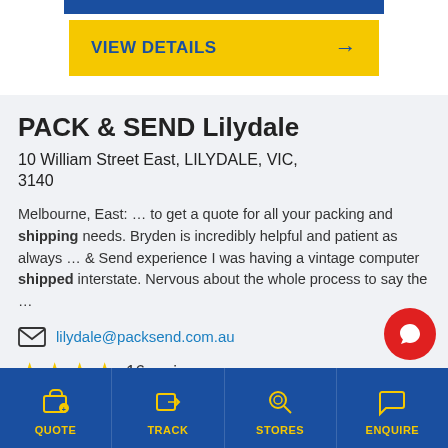[Figure (screenshot): Yellow button with text VIEW DETAILS and arrow]
PACK & SEND Lilydale
10 William Street East, LILYDALE, VIC, 3140
Melbourne, East: … to get a quote for all your packing and shipping needs. Bryden is incredibly helpful and patient as always … & Send experience I was having a vintage computer shipped interstate. Nervous about the whole process to say the …
lilydale@packsend.com.au
16 reviews
03 9735 5515
QUOTE  TRACK  STORES  ENQUIRE